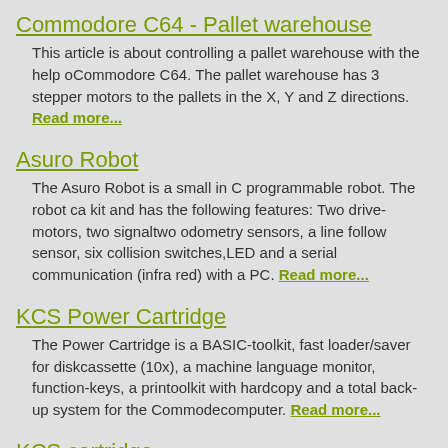Commodore C64 - Pallet warehouse
This article is about controlling a pallet warehouse with the help of a Commodore C64. The pallet warehouse has 3 stepper motors to move the pallets in the X, Y and Z directions. Read more...
Asuro Robot
The Asuro Robot is a small in C programmable robot. The robot comes as a kit and has the following features: Two drive-motors, two signal LEDs, two odometry sensors, a line follow sensor, six collision switches, an LED and a serial communication (infra red) with a PC. Read more...
KCS Power Cartridge
The Power Cartridge is a BASIC-toolkit, fast loader/saver for disk and cassette (10x), a machine language monitor, function-keys, a printer toolkit with hardcopy and a total back-up system for the Commodore 64 computer. Read more...
KCS cartridge
The KCS cartridge is a cartridge with a fast-loader, basic-toolkit, function keys, etc. for the Commodore C64 computer. This cartridge is dev...